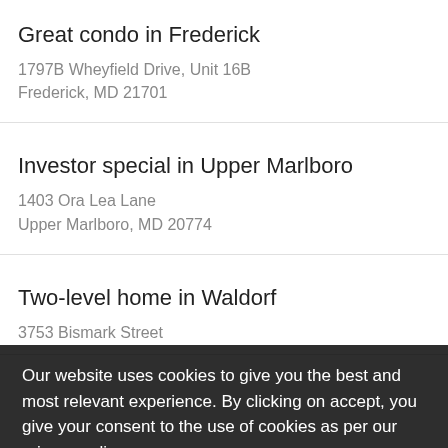Great condo in Frederick
1797B Wheyfield Drive, Unit 16B
Frederick, MD 21701
Investor special in Upper Marlboro
1403 Ora Lea Lane
Upper Marlboro, MD 20774
Two-level home in Waldorf
3753 Bismark Street
Our website uses cookies to give you the best and most relevant experience. By clicking on accept, you give your consent to the use of cookies as per our privacy policy.
Large home in District
1907 Overton Drive
Contris Heights, MD 20743